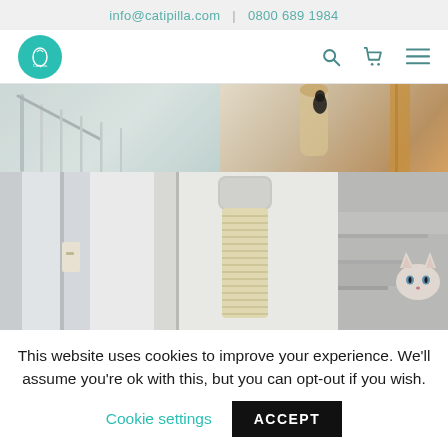info@catipilla.com | 0800 689 1984
[Figure (screenshot): Navigation bar with Catipilla teal logo, search icon, cart icon, and hamburger menu]
[Figure (photo): Top banner showing product lifestyle images with staircase railing and cat scratching post]
[Figure (photo): Three-panel image: door frame detail, sisal scratching post with silver cap, white fluffy cat on grey carpeted stairs]
This website uses cookies to improve your experience. We'll assume you're ok with this, but you can opt-out if you wish.
Cookie settings   ACCEPT